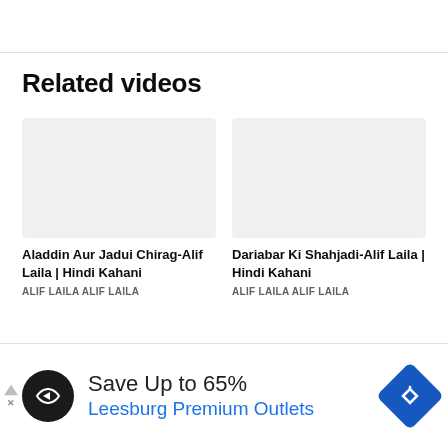Related videos
[Figure (screenshot): Blank video thumbnail placeholder for Aladdin Aur Jadui Chirag-Alif Laila]
Aladdin Aur Jadui Chirag-Alif Laila | Hindi Kahani
ALIF LAILA ALIF LAILA
[Figure (screenshot): Blank video thumbnail placeholder for Dariabar Ki Shahjadi-Alif Laila]
Dariabar Ki Shahjadi-Alif Laila | Hindi Kahani
ALIF LAILA ALIF LAILA
[Figure (infographic): Advertisement banner: Save Up to 65% Leesburg Premium Outlets with logo and navigation icon]